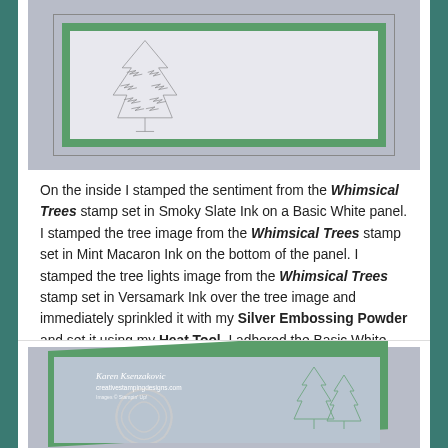[Figure (photo): Top portion of a card crafting project showing the inside of a card with a green border on a gray/lavender background, with a tree stamp impression visible]
On the inside I stamped the sentiment from the Whimsical Trees stamp set in Smoky Slate Ink on a Basic White panel. I stamped the tree image from the Whimsical Trees stamp set in Mint Macaron Ink on the bottom of the panel. I stamped the tree lights image from the Whimsical Trees stamp set in Versamark Ink over the tree image and immediately sprinkled it with my Silver Embossing Powder and set it using my Heat Tool. I adhered the Basic White panel to a Mint Macaron mat and then to the inside of the Mint Macaron card base.
[Figure (photo): Bottom portion showing the inside of a Mint Macaron card with a stamped panel featuring Whimsical Trees in green ink, a large snowflake/ornament embossed in silver, watermark text reading Karen Ksenzakovic creativestampingdesigns.com]